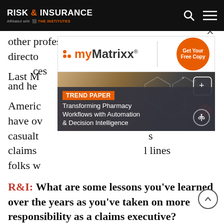RISK & INSURANCE — Affiliated with THE INSTITUTES
other professional lines teams, including directors and officers, cyber, employment practices and healthcare liability.
[Figure (advertisement): myMatrixx advertisement with logo, divider, and orange Get Your Free Copy button. Overlaid by a Trend Paper ad: 'Transforming Pharmacy Workflows with Automation & Decision Intelligence']
Last May, North America, I now have over or the casualty s claims l lines folks w
R&I: What are some lessons you've learned over the years as you've taken on more responsibility as a claims executive?